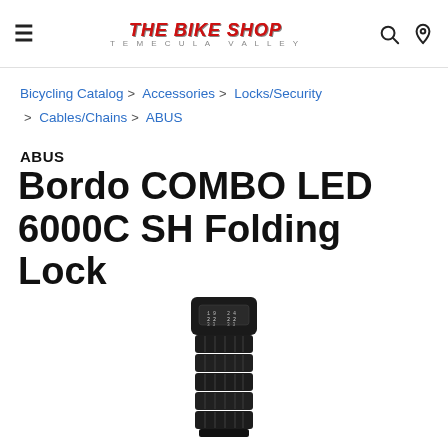THE BIKE SHOP TEMECULA VALLEY
Bicycling Catalog > Accessories > Locks/Security > Cables/Chains > ABUS
ABUS
Bordo COMBO LED 6000C SH Folding Lock
[Figure (photo): ABUS Bordo COMBO LED 6000C SH Folding Lock — black folding lock with combination dial showing digits, viewed from above at an angle]